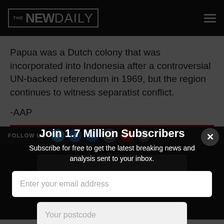THE NEW DAILY
Papua was a Dutch colony that was incorporated into Indonesia after a controversial UN-backed referendum in 1969, but the region continues to witness separatist conflict.
-AAP
Join 1.7 Million Subscribers
Subscribe for free to get the latest breaking news and analysis sent to your inbox.
Enter your email address
Your postcode
Subscribe